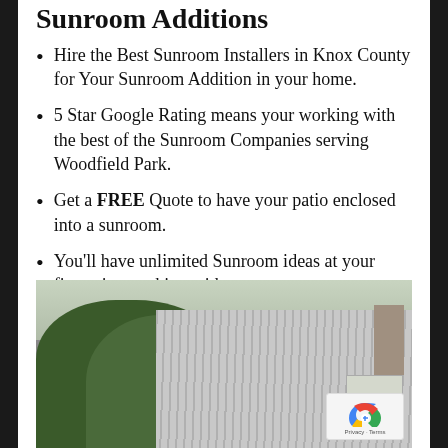Sunroom Additions
Hire the Best Sunroom Installers in Knox County for Your Sunroom Addition in your home.
5 Star Google Rating means your working with the best of the Sunroom Companies serving Woodfield Park.
Get a FREE Quote to have your patio enclosed into a sunroom.
You'll have unlimited Sunroom ideas at your fingertips working with us.
[Figure (photo): Exterior photo of a house showing a metal/tin roof with skylights, surrounded by green trees, with a chimney visible on the right side.]